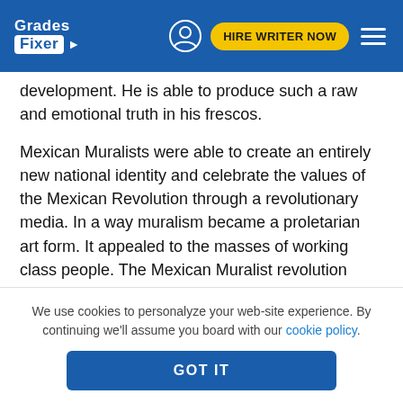Grades Fixer — HIRE WRITER NOW
development. He is able to produce such a raw and emotional truth in his frescos.
Mexican Muralists were able to create an entirely new national identity and celebrate the values of the Mexican Revolution through a revolutionary media. In a way muralism became a proletarian art form. It appealed to the masses of working class people. The Mexican Muralist revolution served as a populist movement working outside the abilities of the government. Although sponsored by the
We use cookies to personalyze your web-site experience. By continuing we'll assume you board with our cookie policy.
GOT IT